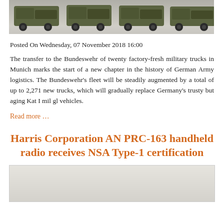[Figure (photo): Top portion of military trucks in a warehouse or facility, showing the front grilles and wheels of several olive-green military trucks.]
Posted On Wednesday, 07 November 2018 16:00
The transfer to the Bundeswehr of twenty factory-fresh military trucks in Munich marks the start of a new chapter in the history of German Army logistics. The Bundeswehr’s fleet will be steadily augmented by a total of up to 2,271 new trucks, which will gradually replace Germany’s trusty but aging Kat I mil gl vehicles.
Read more …
Harris Corporation AN PRC-163 handheld radio receives NSA Type-1 certification
[Figure (photo): Partial photo of Harris Corporation AN PRC-163 handheld radio, mostly grey/cropped at bottom of page.]